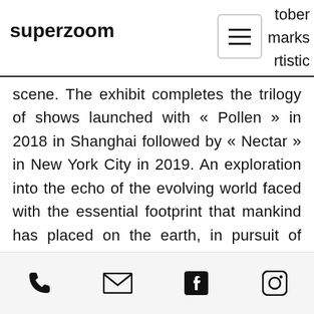superzoom
tober marks rtistic scene. The exhibit completes the trilogy of shows launched with « Pollen » in 2018 in Shanghai followed by « Nectar » in New York City in 2019. An exploration into the echo of the evolving world faced with the essential footprint that mankind has placed on the earth, in pursuit of good and excess. The success of Essence, allows the artist to get very promising prospects for 2021 with a new solo show in Shanghai in may and numerous group shows
[phone] [email] [facebook] [instagram]